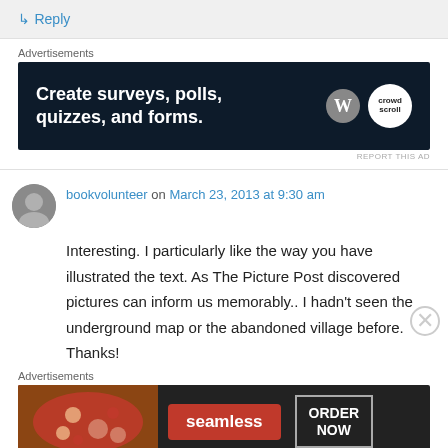↳ Reply
Advertisements
[Figure (screenshot): Advertisement banner with dark navy background showing text 'Create surveys, polls, quizzes, and forms.' with WordPress and CrowdSignal logos on right.]
REPORT THIS AD
bookvolunteer on March 23, 2013 at 9:30 am
Interesting. I particularly like the way you have illustrated the text. As The Picture Post discovered pictures can inform us memorably.. I hadn't seen the underground map or the abandoned village before. Thanks!
Advertisements
[Figure (screenshot): Advertisement banner for Seamless food delivery with pizza image on left, red Seamless button in center, and 'ORDER NOW' button on right on dark background.]